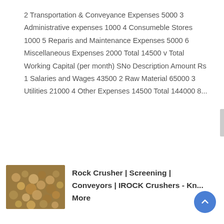2 Transportation & Conveyance Expenses 5000 3 Administrative expenses 1000 4 Consumeble Stores 1000 5 Reparis and Maintenance Expenses 5000 6 Miscellaneous Expenses 2000 Total 14500 v Total Working Capital (per month) SNo Description Amount Rs 1 Salaries and Wages 43500 2 Raw Material 65000 3 Utilities 21000 4 Other Expenses 14500 Total 144000 8...
[Figure (photo): Thumbnail image of rocks or crushed stone material, brownish-gold colored]
Rock Crusher | Screening | Conveyors | IROCK Crushers - Kn... More